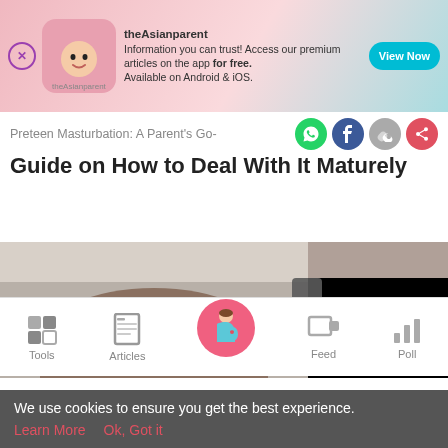[Figure (screenshot): theAsianparent app advertisement banner with pink/teal gradient background, app logo, text about premium articles, and 'View Now' button]
Preteen Masturbation: A Parent's Guide on How to Deal With It Maturely
[Figure (photo): Photo of child viewed from behind with dark portion overlay and navigation arrow]
[Figure (screenshot): App bottom navigation bar with Tools, Articles, Home (pregnant lady), Feed, Poll]
We use cookies to ensure you get the best experience.
Learn More   Ok, Got it